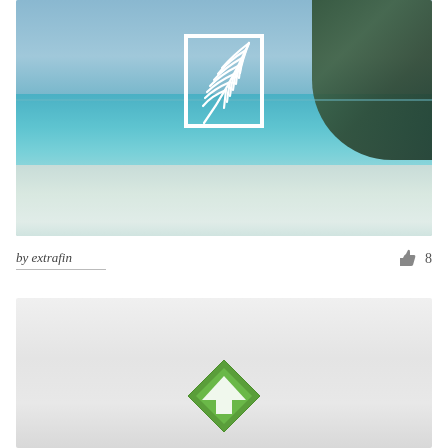[Figure (photo): Tropical beach scene with turquoise water, white sand, palm trees and thatched umbrellas with lounge chairs. A white rectangular logo with a palm leaf/frond design is overlaid in the center of the image.]
by extrafin
8
[Figure (photo): Light gray gradient background image, partially visible, with a green diamond/house shaped logo at the bottom center, partially cut off.]